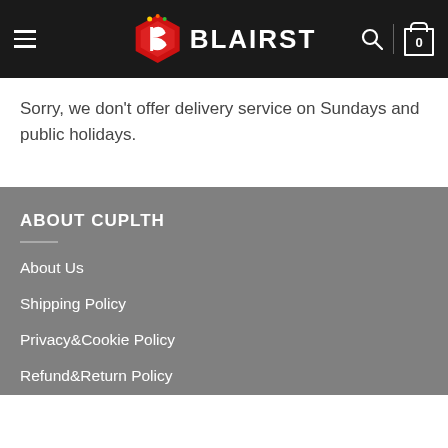BLAIRST
Sorry, we don't offer delivery service on Sundays and public holidays.
ABOUT CUPLTH
About Us
Shipping Policy
Privacy&Cookie Policy
Refund&Return Policy